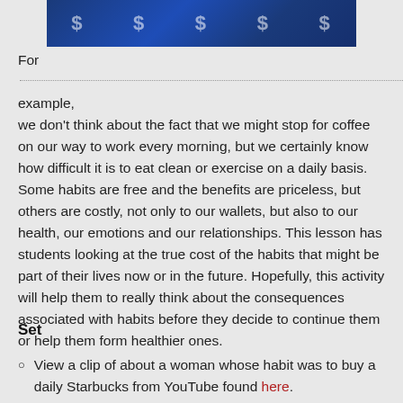[Figure (photo): Dark blue background image with dollar signs scattered across it, partially cropped at top of page]
For ........................................................................................................  example, we don't think about the fact that we might stop for coffee on our way to work every morning, but we certainly know how difficult it is to eat clean or exercise on a daily basis. Some habits are free and the benefits are priceless, but others are costly, not only to our wallets, but also to our health, our emotions and our relationships. This lesson has students looking at the true cost of the habits that might be part of their lives now or in the future. Hopefully, this activity will help them to really think about the consequences associated with habits before they decide to continue them or help them form healthier ones.
Set
View a clip of about a woman whose habit was to buy a daily Starbucks from YouTube found here.